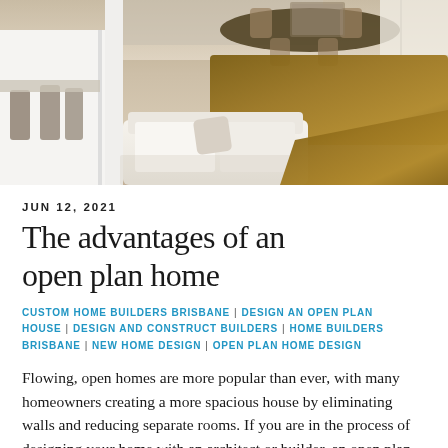[Figure (photo): Aerial/overhead view of a modern open-plan living space with a white sofa, wooden dining table, chairs, and light wood floors]
JUN 12, 2021
The advantages of an open plan home
CUSTOM HOME BUILDERS BRISBANE | DESIGN AN OPEN PLAN HOUSE | DESIGN AND CONSTRUCT BUILDERS | HOME BUILDERS BRISBANE | NEW HOME DESIGN | OPEN PLAN HOME DESIGN
Flowing, open homes are more popular than ever, with many homeowners creating a more spacious house by eliminating walls and reducing separate rooms. If you are in the process of designing your home with an architect or builder, an open plan home may be